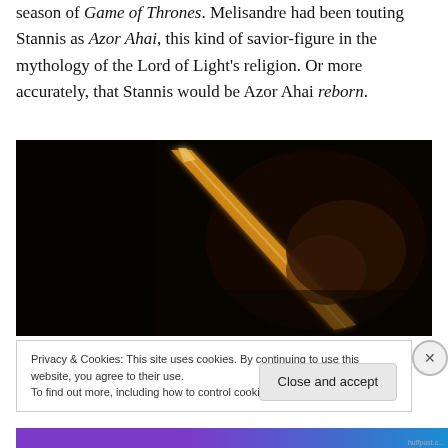season of Game of Thrones. Melisandre had been touting Stannis as Azor Ahai, this kind of savior-figure in the mythology of the Lord of Light's religion. Or more accurately, that Stannis would be Azor Ahai reborn.
[Figure (photo): Dark scene showing a glowing golden/fiery sword or staff being held up in darkness, from Game of Thrones]
Privacy & Cookies: This site uses cookies. By continuing to use this website, you agree to their use.
To find out more, including how to control cookies, see here: Cookie Policy